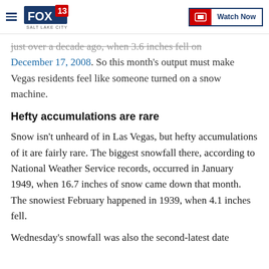FOX 13 Salt Lake City — Watch Now
just over a decade ago, when 3.6 inches fell on December 17, 2008. So this month's output must make Vegas residents feel like someone turned on a snow machine.
Hefty accumulations are rare
Snow isn't unheard of in Las Vegas, but hefty accumulations of it are fairly rare. The biggest snowfall there, according to National Weather Service records, occurred in January 1949, when 16.7 inches of snow came down that month. The snowiest February happened in 1939, when 4.1 inches fell.
Wednesday's snowfall was also the second-latest date for snow...